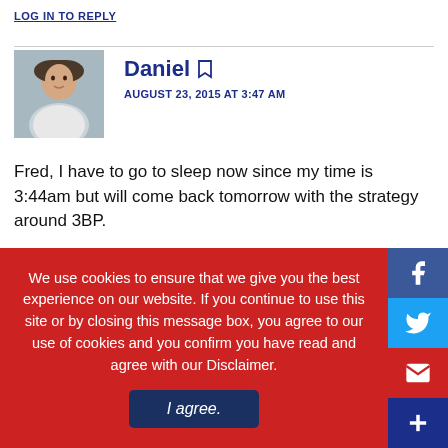LOG IN TO REPLY
Daniel • AUGUST 23, 2015 AT 3:47 AM
Fred, I have to go to sleep now since my time is 3:44am but will come back tomorrow with the strategy around 3BP.
LOG IN TO REPLY
We use cookies to ensure that we give you the best experience on our website. If you continue to use this site or by closing this message box, you agree to our use of cookies and you confirm you have read and agree with our Disclaimer.
I agree.